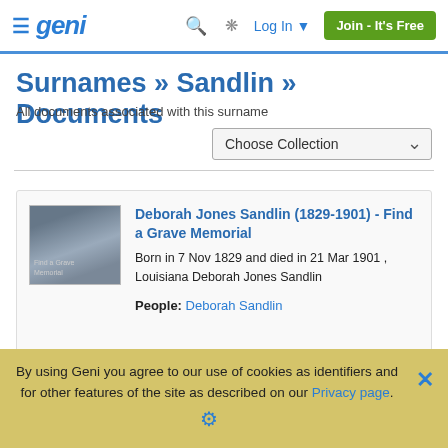≡ Geni  🔍  ⋮  Log In ▾  Join - It's Free
Surnames » Sandlin » Documents
All documents associated with this surname
Choose Collection
[Figure (screenshot): Thumbnail image of Deborah Jones Sandlin Find a Grave Memorial document]
Deborah Jones Sandlin (1829-1901) - Find a Grave Memorial
Born in 7 Nov 1829 and died in 21 Mar 1901 , Louisiana Deborah Jones Sandlin
People: Deborah Sandlin
By using Geni you agree to our use of cookies as identifiers and for other features of the site as described on our Privacy page.